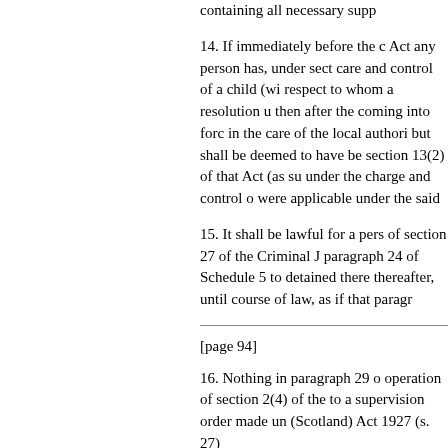containing all necessary supp
14. If immediately before the commencement of this Act any person has, under section ... care and control of a child (with respect to whom a resolution under ... then after the coming into force ... in the care of the local authority ... but shall be deemed to have been received under section 13(2) of that Act (as substituted) ... under the charge and control of ... were applicable under the said ...
15. It shall be lawful for a person ... of section 27 of the Criminal Justice ... paragraph 24 of Schedule 5 to ... detained there thereafter, until ... course of law, as if that paragraph ...
[page 94]
16. Nothing in paragraph 29 o ... operation of section 2(4) of the ... to a supervision order made un ... (Scotland) Act 1927 (s. 27) ...